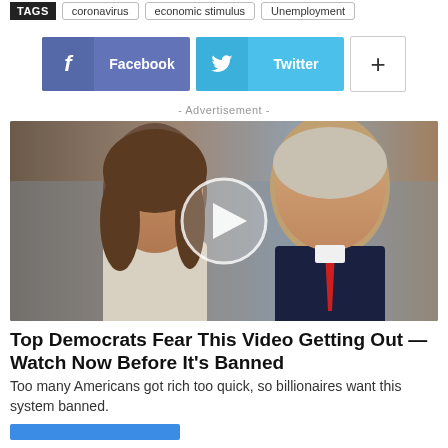TAGS  coronavirus  economic stimulus  Unemployment
Facebook  Twitter  +
- Advertisement -
[Figure (photo): Photo of two people with a video play button overlay, inside an advertisement panel]
Top Democrats Fear This Video Getting Out — Watch Now Before It's Banned
Too many Americans got rich too quick, so billionaires want this system banned.